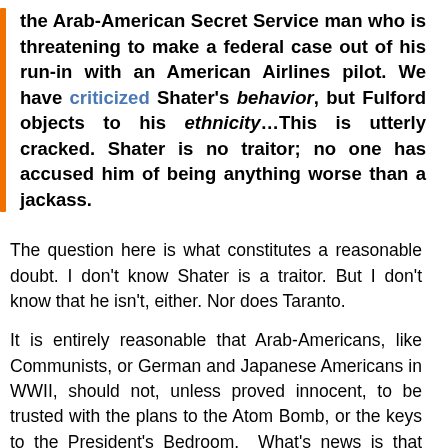the Arab-American Secret Service man who is threatening to make a federal case out of his run-in with an American Airlines pilot. We have criticized Shater's behavior, but Fulford objects to his ethnicity…This is utterly cracked. Shater is no traitor; no one has accused him of being anything worse than a jackass.
The question here is what constitutes a reasonable doubt. I don't know Shater is a traitor. But I don't know that he isn't, either. Nor does Taranto.
It is entirely reasonable that Arab-Americans, like Communists, or German and Japanese Americans in WWII, should not, unless proved innocent, to be trusted with the plans to the Atom Bomb, or the keys to the President's Bedroom. What's news is that anyone